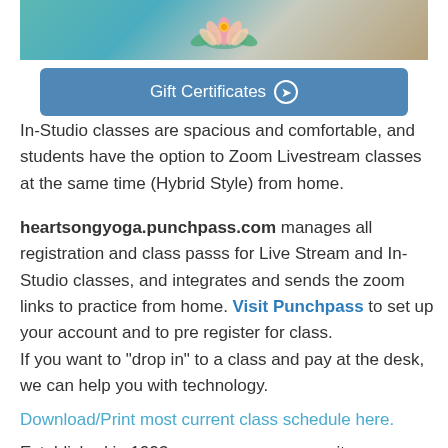[Figure (photo): Top banner showing a lotus flower illustration on a teal/turquoise background with decorative elements]
Gift Certificates →
In-Studio classes are spacious and comfortable, and students have the option to Zoom Livestream classes at the same time (Hybrid Style) from home.
heartsongyoga.punchpass.com manages all registration and class passs for Live Stream and In-Studio classes, and integrates and sends the zoom links to practice from home. Visit Punchpass to set up your account and to pre register for class.
If you want to "drop in" to a class and pay at the desk, we can help you with technology.
Download/Print most current class schedule here.
Established in 1993, we are your community resource for